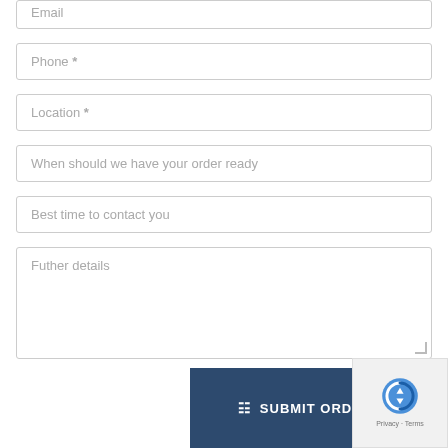Email
Phone *
Location *
When should we have your order ready
Best time to contact you
Futher details
SUBMIT ORD